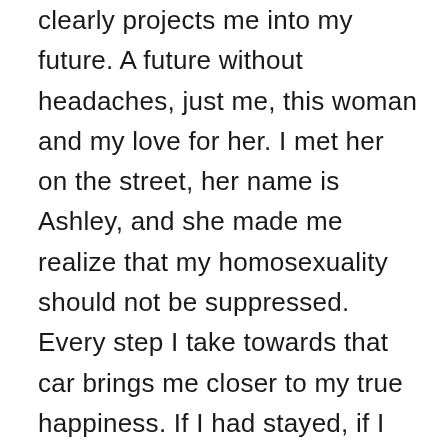clearly projects me into my future. A future without headaches, just me, this woman and my love for her. I met her on the street, her name is Ashley, and she made me realize that my homosexuality should not be suppressed. Every step I take towards that car brings me closer to my true happiness. If I had stayed, if I had said: “I do”, I would have blamed myself all my life. This is the life for me and no other. This life will be full of happiness but also full of pitfalls. This is the only one that can satisfy me. I only realize it now but I was born for